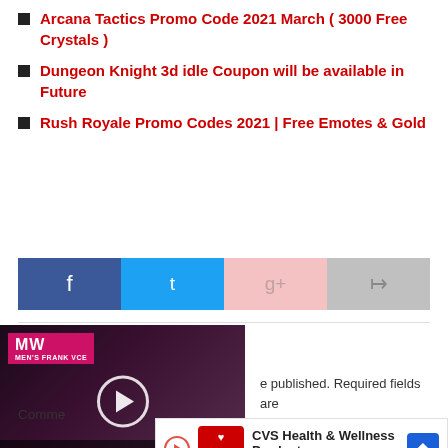Arcana Tactics Promo Code 2021 March ( 3000 Free Crystals )
Dungeon Knight 3d idle Coupon will be available in Future
Rush Royale Promo Codes 2021 | Free Emotes & Gold
[Figure (other): Social share buttons: Facebook, Twitter, Google+, Forward/Share]
[Figure (other): Video thumbnail with MW logo, play button, BEST RETRO SWITCH GAMES caption]
e published. Required fields are
Comme
[Figure (other): CVS Health & Wellness Products advertisement banner with CVS Pharmacy logo and navigation arrow]